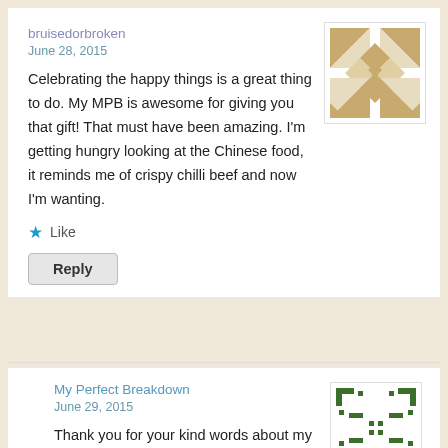bruisedorbroken
June 28, 2015
Celebrating the happy things is a great thing to do. My MPB is awesome for giving you that gift! That must have been amazing. I'm getting hungry looking at the Chinese food, it reminds me of crispy chilli beef and now I'm wanting.
[Figure (illustration): Golden/tan geometric quilt-pattern avatar icon]
★ Like
Reply
My Perfect Breakdown
June 29, 2015
[Figure (illustration): Dark green geometric pixel/bracket pattern avatar icon]
Thank you for your kind words about my photos! And you are right, he is pretty awesome for helping me celebrate the simple happy things! 🙂